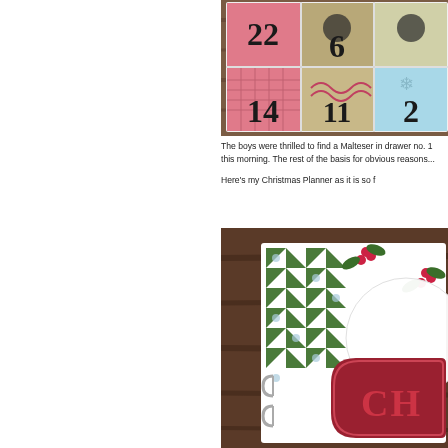[Figure (photo): Advent calendar with numbered drawers showing numbers 22, 6, 14, 11, and partial 2, with colorful pink, tan, and blue patterned fronts on a wooden surface]
The boys were thrilled to find a Malteser in drawer no. 1 this morning. The rest of the basis for obvious reasons...
Here's my Christmas Planner as it is so f
[Figure (photo): Christmas Planner binder with holiday decorative cover featuring green and white quilt pattern with holly berries, polka dots, large white circle, red label reading 'CH...' partially visible, with silver binder rings, on a wooden surface]